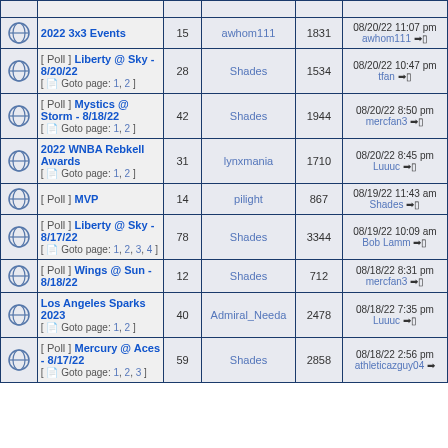|  | Topic | Replies | Author | Views | Last Post |
| --- | --- | --- | --- | --- | --- |
| [icon] | 2022 3x3 Events | 15 | awhom111 | 1831 | 08/20/22 11:07 pm
awhom111 → |
| [icon] | [Poll] Liberty @ Sky - 8/20/22 [Goto page: 1, 2] | 28 | Shades | 1534 | 08/20/22 10:47 pm
tfan → |
| [icon] | [Poll] Mystics @ Storm - 8/18/22 [Goto page: 1, 2] | 42 | Shades | 1944 | 08/20/22 8:50 pm
mercfan3 → |
| [icon] | 2022 WNBA Rebkell Awards [Goto page: 1, 2] | 31 | lynxmania | 1710 | 08/20/22 8:45 pm
Luuuc → |
| [icon] | [Poll] MVP | 14 | pilight | 867 | 08/19/22 11:43 am
Shades → |
| [icon] | [Poll] Liberty @ Sky - 8/17/22 [Goto page: 1, 2, 3, 4] | 78 | Shades | 3344 | 08/19/22 10:09 am
Bob Lamm → |
| [icon] | [Poll] Wings @ Sun - 8/18/22 | 12 | Shades | 712 | 08/18/22 8:31 pm
mercfan3 → |
| [icon] | Los Angeles Sparks 2023 [Goto page: 1, 2] | 40 | Admiral_Needa | 2478 | 08/18/22 7:35 pm
Luuuc → |
| [icon] | [Poll] Mercury @ Aces - 8/17/22 [Goto page: 1, 2, 3] | 59 | Shades | 2858 | 08/18/22 2:56 pm
athleticazguy04 → |